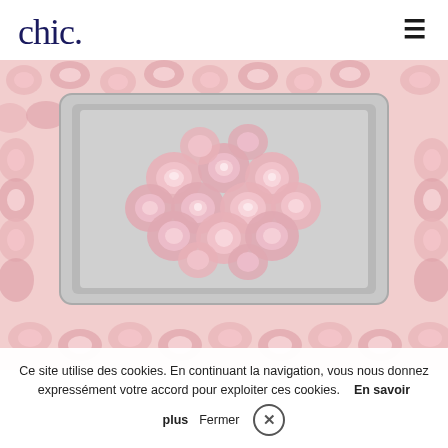chic.
[Figure (photo): A laptop computer with a bouquet of pale pink roses on top, surrounded by a rose-patterned floral background filling the entire image area.]
Ce site utilise des cookies. En continuant la navigation, vous nous donnez expressément votre accord pour exploiter ces cookies.   En savoir plus   Fermer